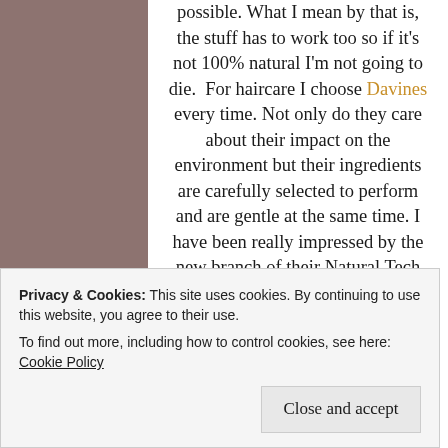possible. What I mean by that is, the stuff has to work too so if it's not 100% natural I'm not going to die. For haircare I choose Davines every time. Not only do they care about their impact on the environment but their ingredients are carefully selected to perform and are gentle at the same time. I have been really impressed by the new branch of their Natural Tech line, Renewing. A pea size amount of shampoo creates a rich lather and beautiful aroma to cleanse the hair from environmental stressors. This line was designed to slow down the aging process and create an optimal environment
Privacy & Cookies: This site uses cookies. By continuing to use this website, you agree to their use. To find out more, including how to control cookies, see here: Cookie Policy